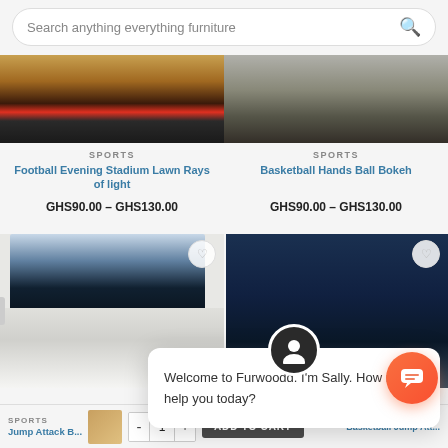[Figure (screenshot): Search bar with placeholder text 'Search anything everything furniture' and a search icon]
[Figure (photo): Top left product image - furniture/stadium item on wooden floor with red and dark tones]
SPORTS
Football Evening Stadium Lawn Rays of light
GHS90.00 – GHS130.00
[Figure (photo): Top right product image - dark furniture/bench against wall]
SPORTS
Basketball Hands Ball Bokeh
GHS90.00 – GHS130.00
[Figure (photo): Bottom left product card showing basketball player silhouette photo mounted above a light gray sofa]
[Figure (photo): Bottom right product card showing basketball player in arena with dark blue stadium lights]
[Figure (screenshot): Chat popup overlay with avatar icon, close button, and message: Welcome to Furwoodd. I'm Sally. How may I help you today?]
Welcome to Furwoodd. I'm Sally. How may I help you today?
[Figure (screenshot): Bottom add-to-cart bar with product category SPORTS, small product thumbnail, quantity controls (- 1 +), ADD TO CART button, and chat bubble icon]
SPORTS
Jump Attack B
Basketball Jump Att...
ADD TO CART